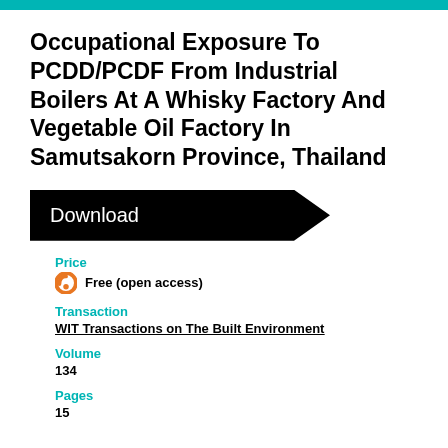Occupational Exposure To PCDD/PCDF From Industrial Boilers At A Whisky Factory And Vegetable Oil Factory In Samutsakorn Province, Thailand
[Figure (other): Black arrow-shaped download button with white text 'Download']
Price
Free (open access)
Transaction
WIT Transactions on The Built Environment
Volume
134
Pages
15